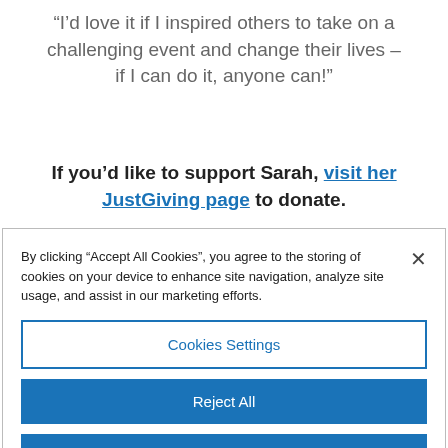“I’d love it if I inspired others to take on a challenging event and change their lives – if I can do it, anyone can!”
If you’d like to support Sarah, visit her JustGiving page to donate.
You can also follow her on Instagram
By clicking “Accept All Cookies”, you agree to the storing of cookies on your device to enhance site navigation, analyze site usage, and assist in our marketing efforts.
Cookies Settings
Reject All
Accept All Cookies